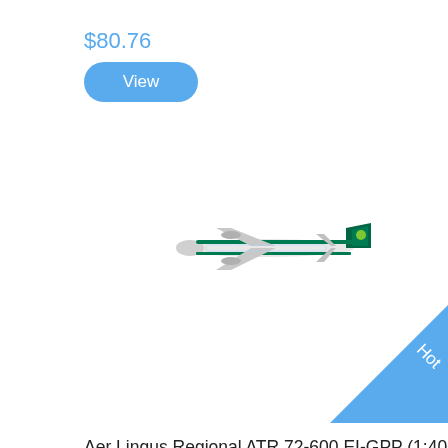$80.76
View
[Figure (photo): Top-down view of an Aer Lingus Regional ATR 72-600 airplane model EI-GPP in green and teal livery, photographed against white background]
[Figure (infographic): Blue diagonal corner banner with 'Hot' text rotated 45 degrees]
Aer Lingus Regional ATR 72-600 EI-GPP (1:400)
$37.56
View